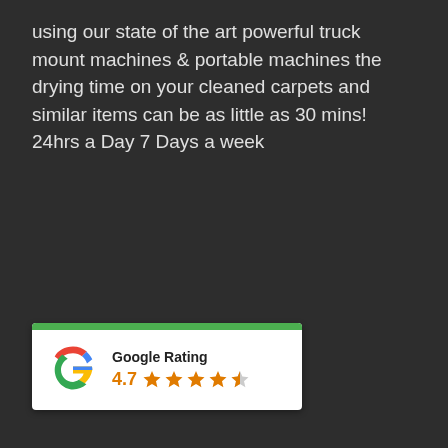using our state of the art powerful truck mount machines & portable machines the drying time on your cleaned carpets and similar items can be as little as 30 mins! 24hrs a Day 7 Days a week
[Figure (other): Google Rating widget card with a green top bar, Google 'G' logo, text 'Google Rating', rating number '4.7', and four full orange stars plus one half star]